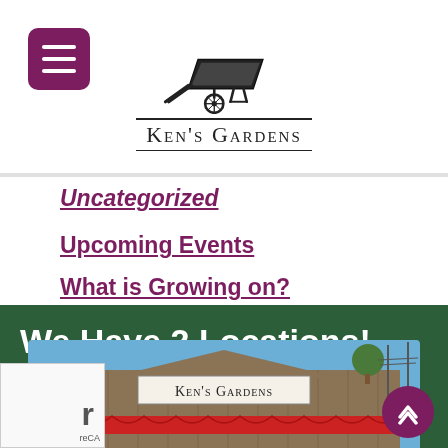[Figure (logo): Ken's Gardens logo with wheelbarrow illustration and small-caps text]
Uncategorized
Upcoming Events
What is Growing on?
We Have 2 Locations!
[Figure (photo): Ken's Gardens store front building with red roof and sign]